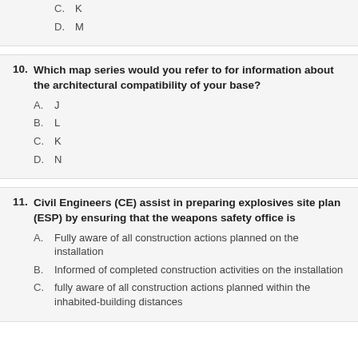C. K
D. M
10. Which map series would you refer to for information about the architectural compatibility of your base?
A. J
B. L
C. K
D. N
11. Civil Engineers (CE) assist in preparing explosives site plan (ESP) by ensuring that the weapons safety office is
A. Fully aware of all construction actions planned on the installation
B. Informed of completed construction activities on the installation
C. fully aware of all construction actions planned within the inhabited-building distances